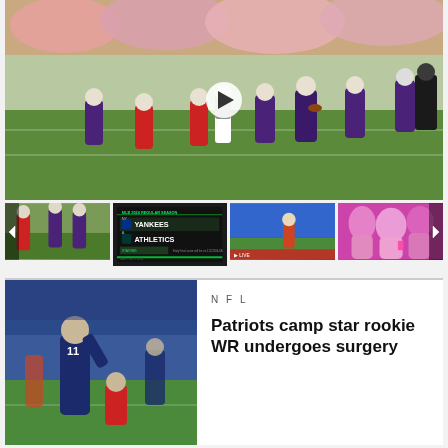[Figure (photo): Main video player showing a college football game with purple-uniformed team (Northwestern) running against red-uniformed team (Nebraska) on a green field. A play button overlay is visible in the center.]
[Figure (photo): Thumbnail 1: Football game action shot similar to main video.]
[Figure (photo): Thumbnail 2: Baseball score graphic showing Yankees vs Athletics with green accent colors.]
[Figure (photo): Thumbnail 3: Baseball game action play at stadium.]
[Figure (photo): Thumbnail 4: Crowd/fans with pink/magenta background.]
[Figure (photo): News article image showing NFL football players on a stadium field, one player in navy/blue uniform with number 11.]
NFL
Patriots camp star rookie WR undergoes surgery